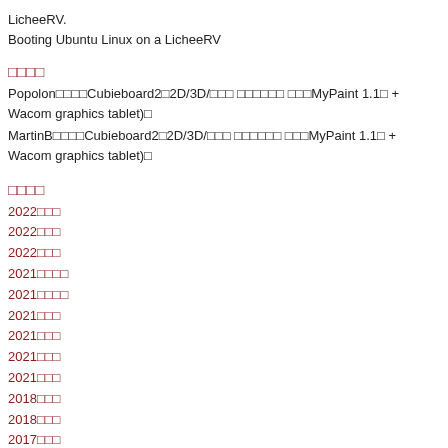LicheeRV.
Booting Ubuntu Linux on a LicheeRV
□□□□
Popolon□□□□Cubieboard2□2D/3D/□□□ □□□□□□ □□□MyPaint 1.1□ + Wacom graphics tablet)□
MartinB□□□□Cubieboard2□2D/3D/□□□ □□□□□□ □□□MyPaint 1.1□ + Wacom graphics tablet)□
□□□□
2022□□□
2022□□□
2022□□□
2021□□□□
2021□□□□
2021□□□
2021□□□
2021□□□
2021□□□
2018□□□
2018□□□
2017□□□